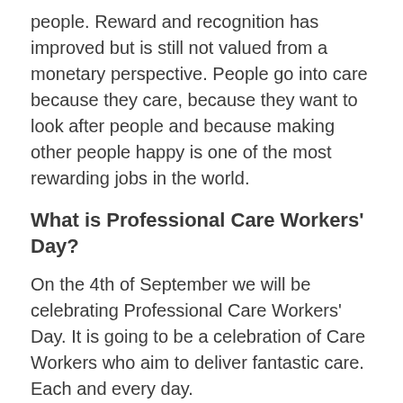people. Reward and recognition has improved but is still not valued from a monetary perspective. People go into care because they care, because they want to look after people and because making other people happy is one of the most rewarding jobs in the world.
What is Professional Care Workers' Day?
On the 4th of September we will be celebrating Professional Care Workers' Day. It is going to be a celebration of Care Workers who aim to deliver fantastic care. Each and every day.
We are going to shout out loud that care workers are skilled professionals who need to be respected and valued more. We want the industry to come together and applaud people that are there day in and day out. In the snow, scorching sun and pouring rain, at night, at